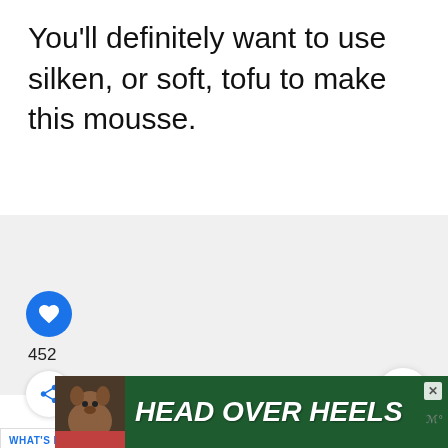You'll definitely want to use silken, or soft, tofu to make this mousse.
[Figure (screenshot): UI screenshot showing a like button (heart icon, blue circle), a count of 452, a share button, a 'What's Next' bar with 'Slow Cooker Caribbean...' and a food thumbnail, an up-arrow button, a search button, and an advertisement banner reading 'HEAD OVER HEELS' with a dog image.]